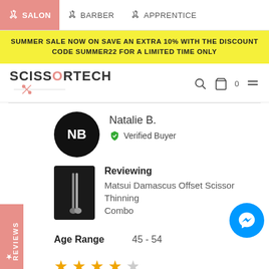SALON  BARBER  APPRENTICE
SUMMER SALE NOW ON SAVE AN EXTRA 10% WITH THE DISCOUNT CODE SUMMER22 FOR A LIMITED TIME ONLY
[Figure (logo): ScissorTech logo with scissors graphic]
REVIEWS
Natalie B.
Verified Buyer
Reviewing
Matsui Damascus Offset Scissor Thinning Combo
Age Range    45 - 54